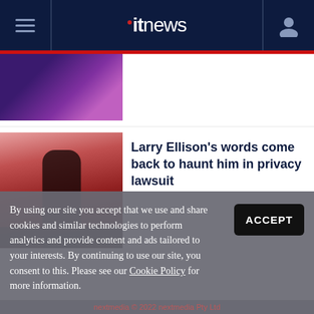itnews
[Figure (photo): Partial view of a stage scene with purple and blue lighting]
Larry Ellison's words come back to haunt him in privacy lawsuit
[Figure (photo): Larry Ellison on stage in front of a red-lit background, audience silhouettes visible]
By using our site you accept that we use and share cookies and similar technologies to perform analytics and provide content and ads tailored to your interests. By continuing to use our site, you consent to this. Please see our Cookie Policy for more information.
nextmedia © 2022 nextmedia Pty Ltd